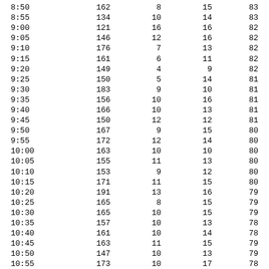| 8:50 | 162 | 8 | 15 | 83 |
| 8:55 | 134 | 10 | 14 | 83 |
| 9:00 | 121 | 16 | 16 | 82 |
| 9:05 | 146 | 12 | 16 | 82 |
| 9:10 | 176 | 7 | 13 | 82 |
| 9:15 | 161 | 6 | 11 | 82 |
| 9:20 | 149 | 4 | 9 | 82 |
| 9:25 | 150 | 5 | 14 | 81 |
| 9:30 | 183 | 9 | 10 | 81 |
| 9:35 | 156 | 10 | 16 | 81 |
| 9:40 | 166 | 10 | 13 | 81 |
| 9:45 | 150 | 12 | 12 | 81 |
| 9:50 | 167 | 9 | 15 | 80 |
| 9:55 | 172 | 12 | 14 | 80 |
| 10:00 | 163 | 10 | 10 | 80 |
| 10:05 | 155 | 11 | 13 | 80 |
| 10:10 | 153 | 9 | 12 | 80 |
| 10:15 | 171 | 11 | 15 | 80 |
| 10:20 | 191 | 13 | 16 | 79 |
| 10:25 | 165 | 8 | 15 | 79 |
| 10:30 | 165 | 10 | 15 | 79 |
| 10:35 | 157 | 10 | 13 | 78 |
| 10:40 | 161 | 10 | 14 | 78 |
| 10:45 | 163 | 11 | 15 | 79 |
| 10:50 | 147 | 10 | 13 | 79 |
| 10:55 | 173 | 10 | 17 | 78 |
| 11:00 | 152 | 12 | 15 | 78 |
| 11:05 | 168 | 7 | 13 | 78 |
| 11:10 | 150 | 7 | 11 | 77 |
| 11:15 | 136 | 10 | 14 | 78 |